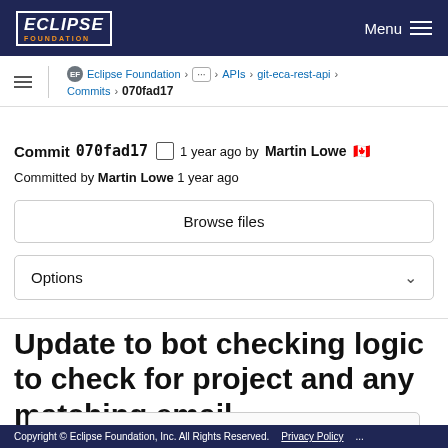ECLIPSE FOUNDATION  Menu
Eclipse Foundation > ... > APIs > git-eca-rest-api > Commits > 070fad17
Commit 070fad17  1 year ago by Martin Lowe 🇨🇦
Committed by Martin Lowe 1 year ago
Browse files
Options
Update to bot checking logic to check for project and any matching email
Copyright © Eclipse Foundation, Inc. All Rights Reserved.   Privacy Policy ...